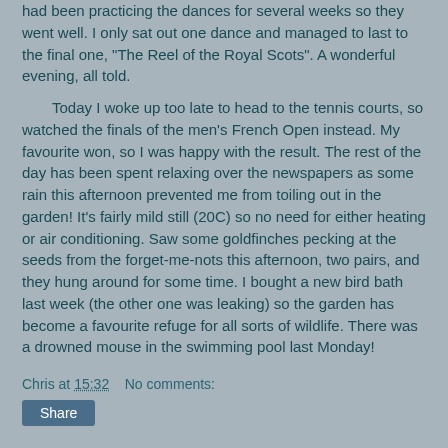had been practicing the dances for several weeks so they went well. I only sat out one dance and managed to last to the final one, "The Reel of the Royal Scots". A wonderful evening, all told.
Today I woke up too late to head to the tennis courts, so watched the finals of the men's French Open instead. My favourite won, so I was happy with the result. The rest of the day has been spent relaxing over the newspapers as some rain this afternoon prevented me from toiling out in the garden! It's fairly mild still (20C) so no need for either heating or air conditioning. Saw some goldfinches pecking at the seeds from the forget-me-nots this afternoon, two pairs, and they hung around for some time. I bought a new bird bath last week (the other one was leaking) so the garden has become a favourite refuge for all sorts of wildlife. There was a drowned mouse in the swimming pool last Monday!
Chris at 15:32   No comments:
Share